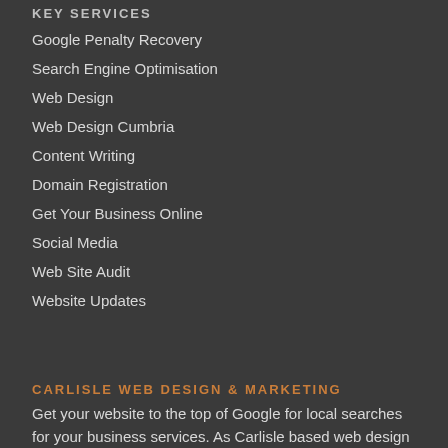KEY SERVICES
Google Penalty Recovery
Search Engine Optimisation
Web Design
Web Design Cumbria
Content Writing
Domain Registration
Get Your Business Online
Social Media
Web Site Audit
Website Updates
CARLISLE WEB DESIGN & MARKETING
Get your website to the top of Google for local searches for your business services. As Carlisle based web design